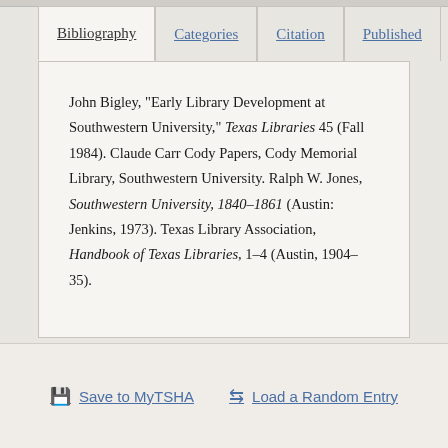Bibliography | Categories | Citation | Published
John Bigley, "Early Library Development at Southwestern University," Texas Libraries 45 (Fall 1984). Claude Carr Cody Papers, Cody Memorial Library, Southwestern University. Ralph W. Jones, Southwestern University, 1840–1861 (Austin: Jenkins, 1973). Texas Library Association, Handbook of Texas Libraries, 1–4 (Austin, 1904–35).
Save to MyTSHA    Load a Random Entry